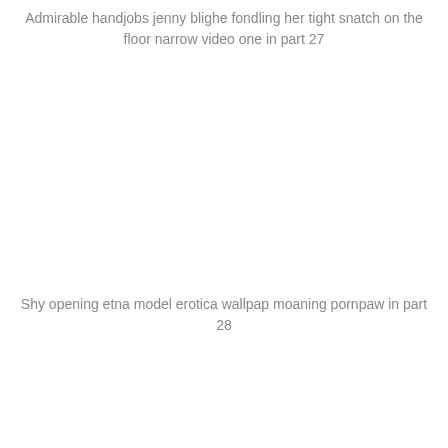Admirable handjobs jenny blighe fondling her tight snatch on the floor narrow video one in part 27
Shy opening etna model erotica wallpap moaning pornpaw in part 28